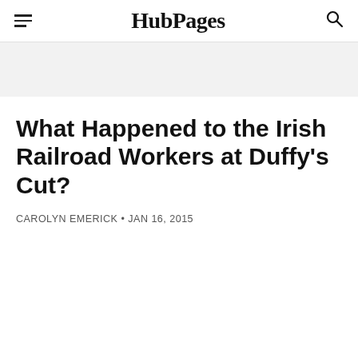HubPages
What Happened to the Irish Railroad Workers at Duffy's Cut?
CAROLYN EMERICK • JAN 16, 2015